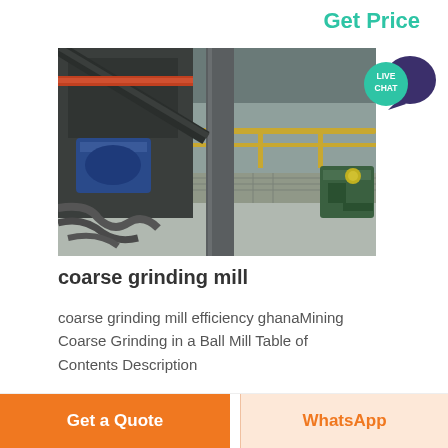Get Price
[Figure (photo): Industrial coarse grinding mill equipment in a factory setting, showing heavy machinery with blue motor, steel columns, hydraulic unit, and conveyor structures on a concrete floor]
coarse grinding mill
coarse grinding mill efficiency ghanaMining Coarse Grinding in a Ball Mill Table of Contents Description
Get a Quote
WhatsApp